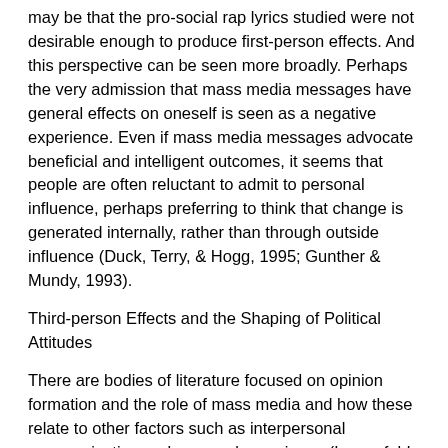may be that the pro-social rap lyrics studied were not desirable enough to produce first-person effects. And this perspective can be seen more broadly. Perhaps the very admission that mass media messages have general effects on oneself is seen as a negative experience. Even if mass media messages advocate beneficial and intelligent outcomes, it seems that people are often reluctant to admit to personal influence, perhaps preferring to think that change is generated internally, rather than through outside influence (Duck, Terry, & Hogg, 1995; Gunther & Mundy, 1993).
Third-person Effects and the Shaping of Political Attitudes
There are bodies of literature focused on opinion formation and the role of mass media and how these relate to other factors such as interpersonal communication and personal experience (Lazarsfeld & Katz, 1956; Lenart, 1994; Mutz, 1998). Although media messages are important, results clearly show that direct media effects do not tell the whole story.